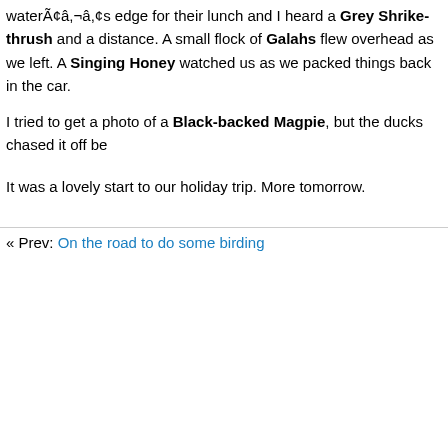waterÃ¢â‚¬â„¢s edge for their lunch and I heard a Grey Shrike-thrush and a distance. A small flock of Galahs flew overhead as we left. A Singing Honey watched us as we packed things back in the car.
I tried to get a photo of a Black-backed Magpie, but the ducks chased it off be
It was a lovely start to our holiday trip. More tomorrow.
« Prev: On the road to do some birding